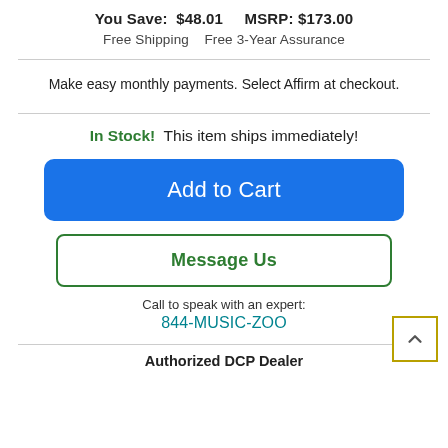You Save: $48.01   MSRP: $173.00
Free Shipping   Free 3-Year Assurance
Make easy monthly payments. Select Affirm at checkout.
In Stock!  This item ships immediately!
Add to Cart
Message Us
Call to speak with an expert:
844-MUSIC-ZOO
Authorized DCP Dealer